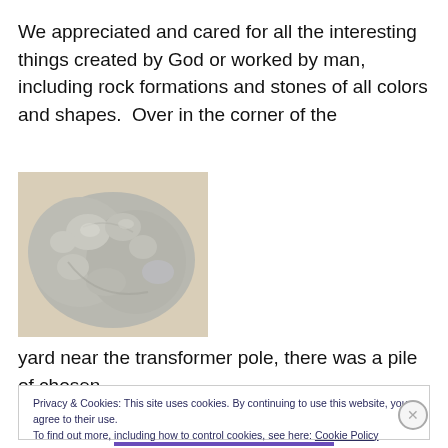We appreciated and cared for all the interesting things created by God or worked by man, including rock formations and stones of all colors and shapes.  Over in the corner of the
[Figure (photo): A gray lumpy rock or mineral specimen, roughly spherical, with an irregular bumpy surface, photographed against a light beige background.]
yard near the transformer pole, there was a pile of chosen
Privacy & Cookies: This site uses cookies. By continuing to use this website, you agree to their use.
To find out more, including how to control cookies, see here: Cookie Policy